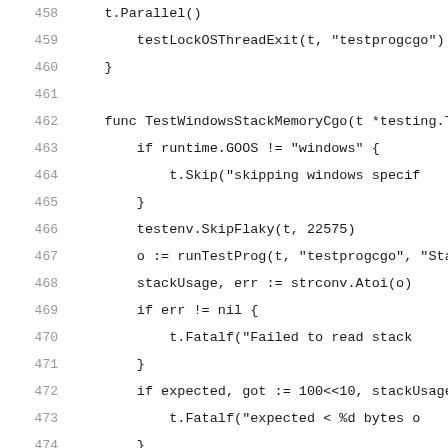[Figure (screenshot): Source code listing in Go language, lines 458-479, showing functions testLockOSThreadExit, TestWindowsStackMemoryCgo, and TestSigStackSwapping]
458  t.Parallel()
459      testLockOSThreadExit(t, "testprogcgo")
460  }
461
462  func TestWindowsStackMemoryCgo(t *testing.T) {
463      if runtime.GOOS != "windows" {
464          t.Skip("skipping windows specif
465      }
466      testenv.SkipFlaky(t, 22575)
467      o := runTestProg(t, "testprogcgo", "Sta
468      stackUsage, err := strconv.Atoi(o)
469      if err != nil {
470          t.Fatalf("Failed to read stack
471      }
472      if expected, got := 100<<10, stackUsage
473          t.Fatalf("expected < %d bytes o
474      }
475  }
476
477  func TestSigStackSwapping(t *testing.T) {
478      switch runtime.GOOS {
479      case "plan9", "windows":